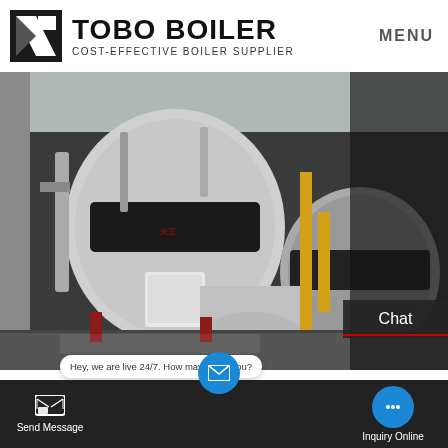TOBO BOILER COST-EFFECTIVE BOILER SUPPLIER | MENU
[Figure (photo): Industrial boiler room with large cylindrical boilers, piping, and yellow gas pipes]
Biomass Boilers | Hurst Boiler
Hurst Boiler is a leader in the development of boiler technology and energy management projects through
Send Message | Hey, we are live 24/7. How may I help you? | Inquiry Online